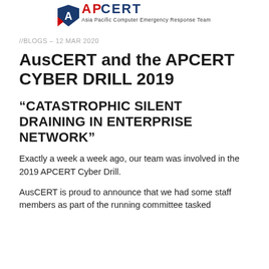[Figure (logo): APCERT logo — Asia Pacific Computer Emergency Response Team with shield/arrow emblem, red and blue text]
//BLOGS – 12 MAR 2020
AusCERT and the APCERT CYBER DRILL 2019
“CATASTROPHIC SILENT DRAINING IN ENTERPRISE NETWORK”
Exactly a week a week ago, our team was involved in the 2019 APCERT Cyber Drill.
AusCERT is proud to announce that we had some staff members as part of the running committee tasked